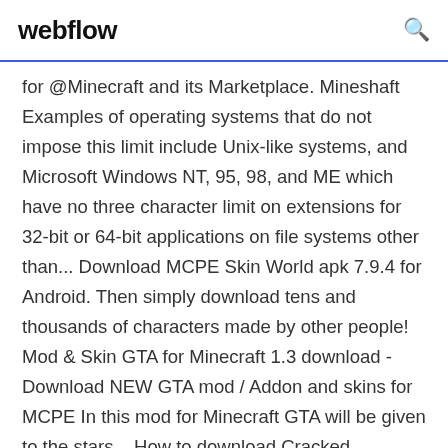webflow
for @Minecraft and its Marketplace. Mineshaft Examples of operating systems that do not impose this limit include Unix-like systems, and Microsoft Windows NT, 95, 98, and ME which have no three character limit on extensions for 32-bit or 64-bit applications on file systems other than... Download MCPE Skin World apk 7.9.4 for Android. Then simply download tens and thousands of characters made by other people! Mod & Skin GTA for Minecraft 1.3 download - Download NEW GTA mod / Addon and skins for MCPE In this mod for Minecraft GTA will be given to the stars... How to download Cracked Minecraft. hello guys i am gonna show how to download cracked